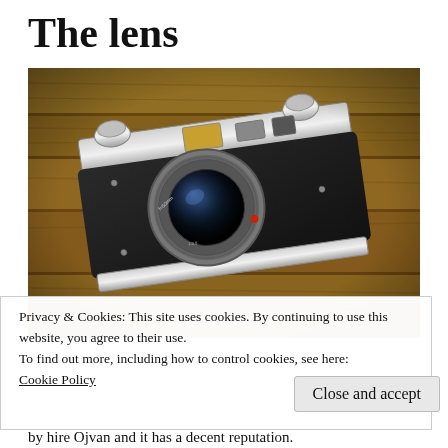The lens
[Figure (photo): A vintage rangefinder camera with black leather body and silver metal accents, featuring a prominent circular lens in the center, placed on a weathered wooden surface.]
Privacy & Cookies: This site uses cookies. By continuing to use this website, you agree to their use.
To find out more, including how to control cookies, see here: Cookie Policy
Close and accept
by hire Ojvan and it has a decent reputation.